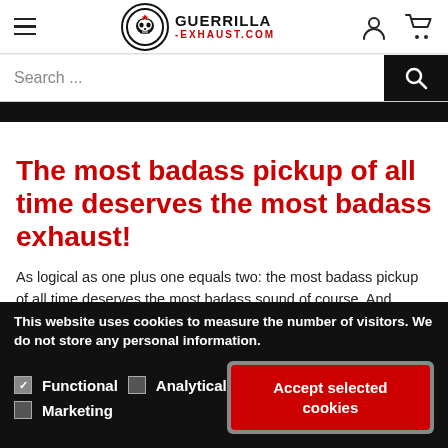[Figure (logo): Guerrilla Exhaust website header with hamburger menu, skull logo, brand name GUERRILLA -EXHAUST.com, user icon and cart icon]
[Figure (screenshot): Search bar with placeholder 'Search ...' and black search button with magnifying glass icon]
[Figure (other): Dark black horizontal strip]
The most badass pickup of all time deserves the most badass exhaust!
As logical as one plus one equals two: the most badass pickup of all time deserves the most badass sound of course. And
This website uses cookies to measure the number of visitors. We do not store any personal information.